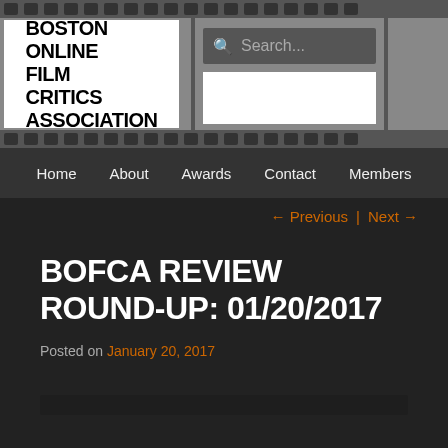[Figure (logo): Boston Online Film Critics Association logo on a film strip header with search bar]
Home  About  Awards  Contact  Members
← Previous  Next →
BOFCA REVIEW ROUND-UP: 01/20/2017
Posted on January 20, 2017